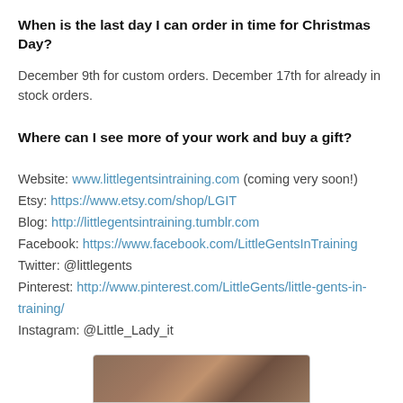When is the last day I can order in time for Christmas Day?
December 9th for custom orders. December 17th for already in stock orders.
Where can I see more of your work and buy a gift?
Website: www.littlegentsintraining.com (coming very soon!)
Etsy: https://www.etsy.com/shop/LGIT
Blog: http://littlegentsintraining.tumblr.com
Facebook: https://www.facebook.com/LittleGentsInTraining
Twitter: @littlegents
Pinterest: http://www.pinterest.com/LittleGents/little-gents-in-training/
Instagram: @Little_Lady_it
[Figure (photo): Photo of folded clothing items, partially visible at bottom of page]